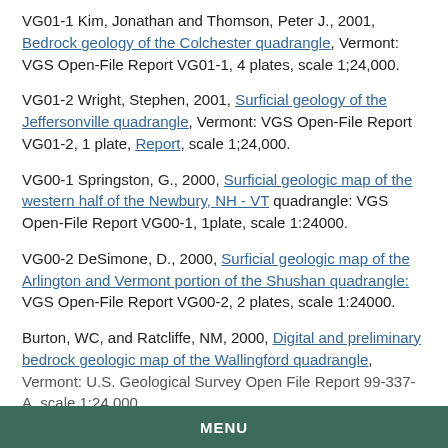VG01-1 Kim, Jonathan and Thomson, Peter J., 2001, Bedrock geology of the Colchester quadrangle, Vermont: VGS Open-File Report VG01-1, 4 plates, scale 1;24,000.
VG01-2 Wright, Stephen, 2001, Surficial geology of the Jeffersonville quadrangle, Vermont: VGS Open-File Report VG01-2, 1 plate, Report, scale 1;24,000.
VG00-1 Springston, G., 2000, Surficial geologic map of the western half of the Newbury, NH - VT quadrangle: VGS Open-File Report VG00-1, 1plate, scale 1:24000.
VG00-2 DeSimone, D., 2000, Surficial geologic map of the Arlington and Vermont portion of the Shushan quadrangle: VGS Open-File Report VG00-2, 2 plates, scale 1:24000.
Burton, WC, and Ratcliffe, NM, 2000, Digital and preliminary bedrock geologic map of the Wallingford quadrangle, Vermont: U.S. Geological Survey Open File Report 99-337-A, scale 1:24,000.
MENU